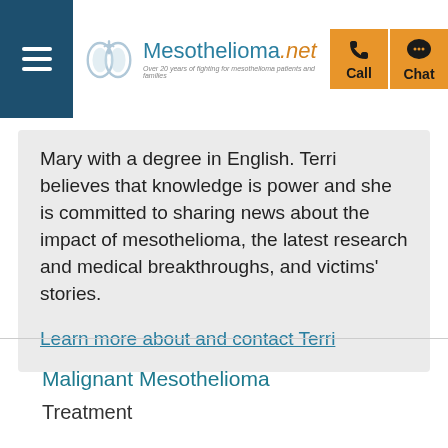Mesothelioma.net
Mary with a degree in English. Terri believes that knowledge is power and she is committed to sharing news about the impact of mesothelioma, the latest research and medical breakthroughs, and victims' stories.
Learn more about and contact Terri
Malignant Mesothelioma
Treatment